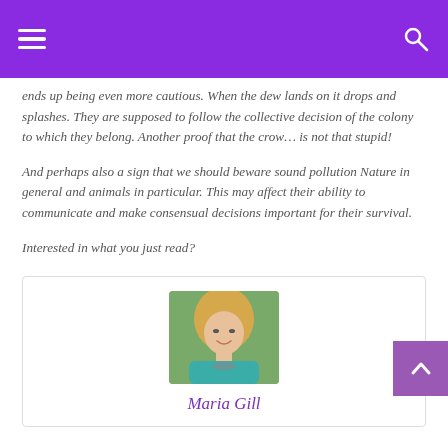Navigation bar with hamburger menu and search icon
ends up being even more cautious. When the dew lands on it drops and splashes. They are supposed to follow the collective decision of the colony to which they belong. Another proof that the crow... is not that stupid!
And perhaps also a sign that we should beware sound pollution Nature in general and animals in particular. This may affect their ability to communicate and make consensual decisions important for their survival.
Interested in what you just read?
[Figure (photo): Portrait photo of Maria Gill, a smiling blonde woman wearing a teal top and necklace]
Maria Gill